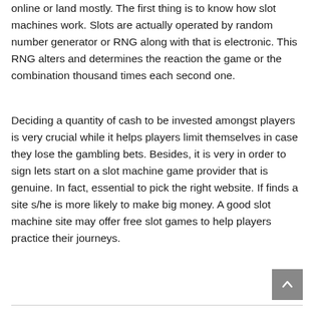online or land mostly. The first thing is to know how slot machines work. Slots are actually operated by random number generator or RNG along with that is electronic. This RNG alters and determines the reaction the game or the combination thousand times each second one.
Deciding a quantity of cash to be invested amongst players is very crucial while it helps players limit themselves in case they lose the gambling bets. Besides, it is very in order to sign lets start on a slot machine game provider that is genuine. In fact, essential to pick the right website. If finds a site s/he is more likely to make big money. A good slot machine site may offer free slot games to help players practice their journeys.